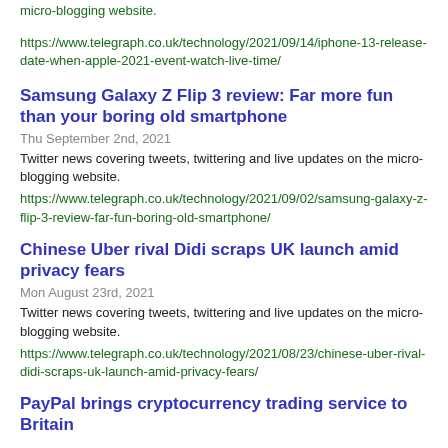micro-blogging website.
https://www.telegraph.co.uk/technology/2021/09/14/iphone-13-release-date-when-apple-2021-event-watch-live-time/
Samsung Galaxy Z Flip 3 review: Far more fun than your boring old smartphone
Thu September 2nd, 2021
Twitter news covering tweets, twittering and live updates on the micro-blogging website.
https://www.telegraph.co.uk/technology/2021/09/02/samsung-galaxy-z-flip-3-review-far-fun-boring-old-smartphone/
Chinese Uber rival Didi scraps UK launch amid privacy fears
Mon August 23rd, 2021
Twitter news covering tweets, twittering and live updates on the micro-blogging website.
https://www.telegraph.co.uk/technology/2021/08/23/chinese-uber-rival-didi-scraps-uk-launch-amid-privacy-fears/
PayPal brings cryptocurrency trading service to Britain